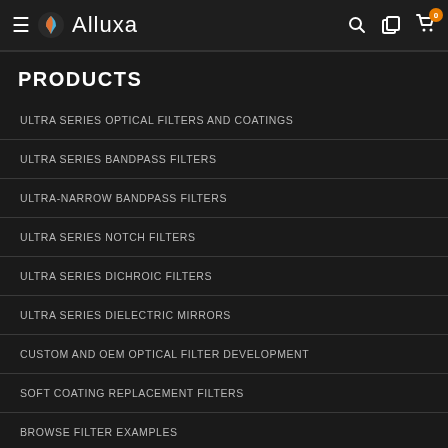Alluxa
PRODUCTS
ULTRA SERIES OPTICAL FILTERS AND COATINGS
ULTRA SERIES BANDPASS FILTERS
ULTRA-NARROW BANDPASS FILTERS
ULTRA SERIES NOTCH FILTERS
ULTRA SERIES DICHROIC FILTERS
ULTRA SERIES DIELECTRIC MIRRORS
CUSTOM AND OEM OPTICAL FILTER DEVELOPMENT
SOFT COATING REPLACEMENT FILTERS
BROWSE FILTER EXAMPLES